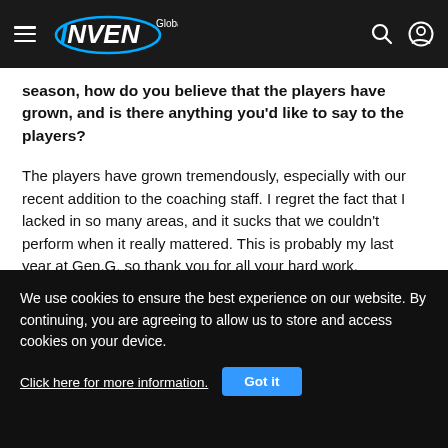INVEN Global
season, how do you believe that the players have grown, and is there anything you'd like to say to the players?
The players have grown tremendously, especially with our recent addition to the coaching staff. I regret the fact that I lacked in so many areas, and it sucks that we couldn't perform when it really mattered. This is probably my last year at Gen.G, so thank you for all your hard work.
We use cookies to ensure the best experience on our website. By continuing, you are agreeing to allow us to store and access cookies on your device. Click here for more information. Got it